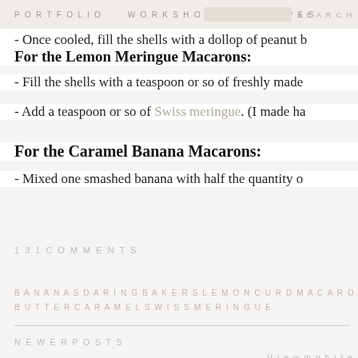PORTFOLIO   WORKSHOPS   RECIPES   SEARCH
- Once cooled, fill the shells with a dollop of peanut b…
For the Lemon Meringue Macarons:
- Fill the shells with a teaspoon or so of freshly made…
- Add a teaspoon or so of Swiss meringue. (I made ha…
For the Caramel Banana Macarons:
- Mixed one smashed banana with half the quantity o…
131 COMMENTS
BANANAS DARING BAKERS LEMON CURD MACARONS PE… BUTTER CARAMEL SWISS MERINGUE
NEWER POSTS
View mobile…